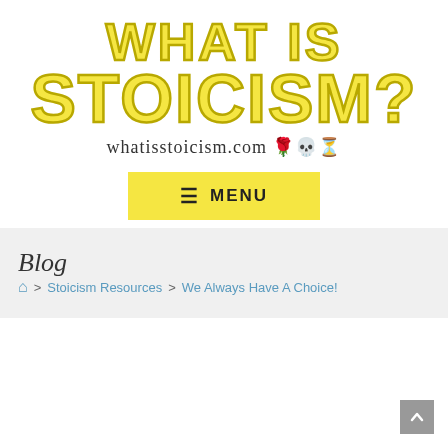[Figure (logo): What Is Stoicism website logo with large yellow block text reading WHAT IS STOICISM? and URL whatisstoicism.com with emoji icons]
MENU
Blog
Home > Stoicism Resources > We Always Have A Choice!